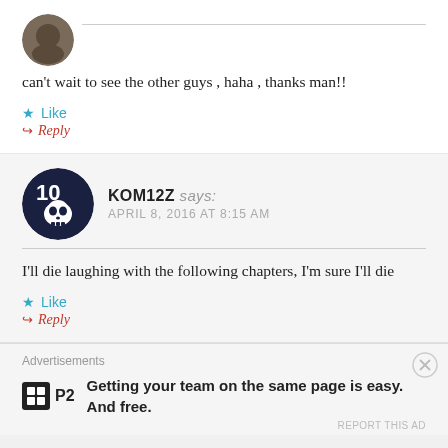can't wait to see the other guys , haha , thanks man!!
★ Like
↪ Reply
[Figure (illustration): Skull avatar icon for user KOM12Z — circular dark navy badge with white skull and number 10]
KOM12Z says: APRIL 8, 2016 AT 8:15 AM
I'll die laughing with the following chapters, I'm sure I'll die
★ Like
↪ Reply
Advertisements
[Figure (logo): P2 logo — black square with white grid icon and P2 text]
Getting your team on the same page is easy. And free.